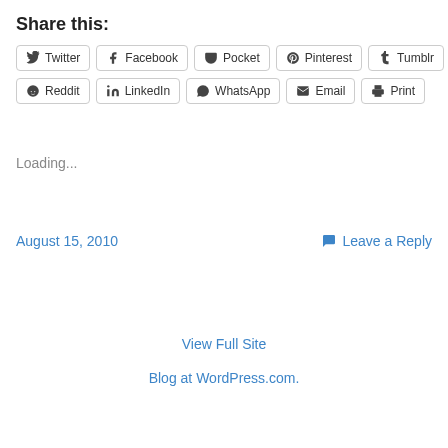Share this:
Twitter
Facebook
Pocket
Pinterest
Tumblr
Reddit
LinkedIn
WhatsApp
Email
Print
Loading...
August 15, 2010
Leave a Reply
View Full Site
Blog at WordPress.com.